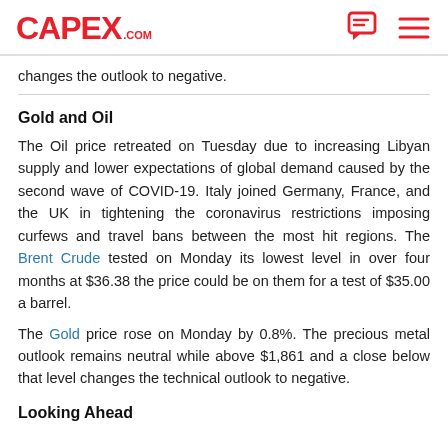CAPEX.COM
changes the outlook to negative.
Gold and Oil
The Oil price retreated on Tuesday due to increasing Libyan supply and lower expectations of global demand caused by the second wave of COVID-19. Italy joined Germany, France, and the UK in tightening the coronavirus restrictions imposing curfews and travel bans between the most hit regions. The Brent Crude tested on Monday its lowest level in over four months at $36.38 the price could be on them for a test of $35.00 a barrel.
The Gold price rose on Monday by 0.8%. The precious metal outlook remains neutral while above $1,861 and a close below that level changes the technical outlook to negative.
Looking Ahead